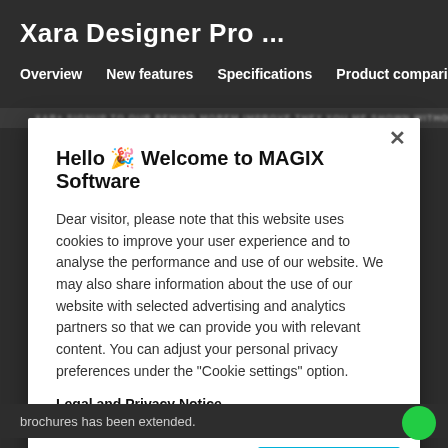Xara Designer Pro ...
Overview  New features  Specifications  Product comparison >
[Figure (screenshot): Blurred website text bar behind modal]
Hello 🎉 Welcome to MAGIX Software
Dear visitor, please note that this website uses cookies to improve your user experience and to analyse the performance and use of our website. We may also share information about the use of our website with selected advertising and analytics partners so that we can provide you with relevant content. You can adjust your personal privacy preferences under the "Cookie settings" option.
Legal and Privacy Notice
Cookie Settings
OK
brochures has been extended.